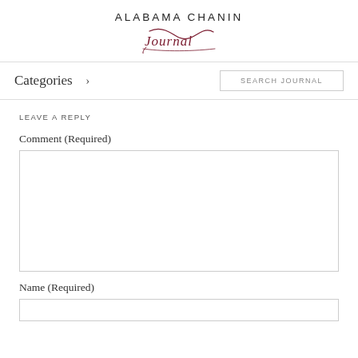ALABAMA CHANIN Journal
Categories >
SEARCH JOURNAL
LEAVE A REPLY
Comment (Required)
Name (Required)